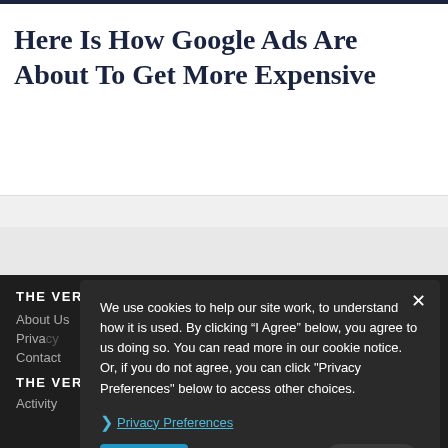Here Is How Google Ads Are About To Get More Expensive
THE VERSED
About Us
Privacy
Contact
THE VERSED NETWORK
Activity
We use cookies to help our site work, to understand how it is used. By clicking “I Agree” below, you agree to us doing so. You can read more in our cookie notice. Or, if you do not agree, you can click "Privacy Preferences" below to access other choices.
Privacy Preferences
I Agree
SHARE